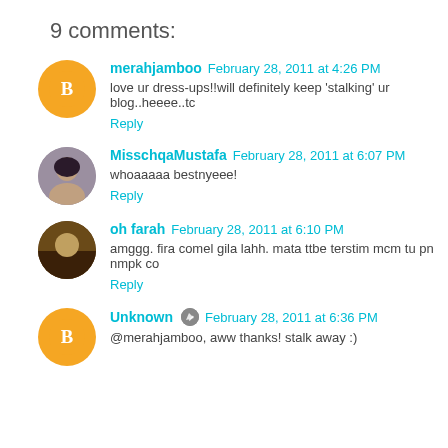9 comments:
merahjamboo February 28, 2011 at 4:26 PM
love ur dress-ups!!will definitely keep 'stalking' ur blog..heeee..tc
Reply
MisschqaMustafa February 28, 2011 at 6:07 PM
whoaaaaa bestnyeee!
Reply
oh farah February 28, 2011 at 6:10 PM
amggg. fira comel gila lahh. mata ttbe terstim mcm tu pn nmpk co
Reply
Unknown February 28, 2011 at 6:36 PM
@merahjamboo, aww thanks! stalk away :)